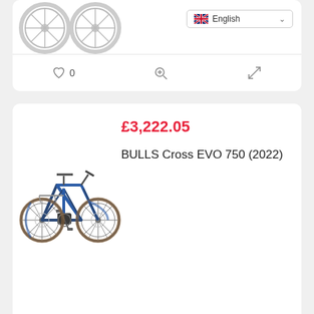[Figure (screenshot): Top portion of a product card (partially visible) showing two bicycle wheels and a language selector dropdown set to English with UK flag.]
0
[Figure (screenshot): Product card for BULLS Cross EVO 750 (2022) showing a blue electric bicycle image, price £3,222.05 in red, product name, and action bar with heart/like count 0, zoom icon, and compare icon.]
£3,222.05
BULLS Cross EVO 750 (2022)
0
[Figure (screenshot): Bottom portion of a third product card, partially visible, cut off.]